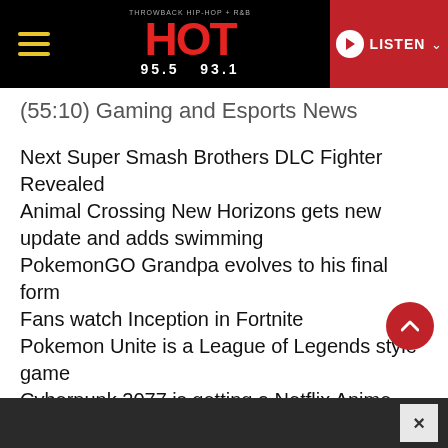HOT 95.5 93.1 — LISTEN
(55:10) Gaming and Esports News
Next Super Smash Brothers DLC Fighter Revealed
Animal Crossing New Horizons gets new update and adds swimming
PokemonGO Grandpa evolves to his final form
Fans watch Inception in Fortnite
Pokemon Unite is a League of Legends style game
Cyberpunk 2077 is getting a Netflix Anime
(1:07:39) Patient Gamer – SURPRISE